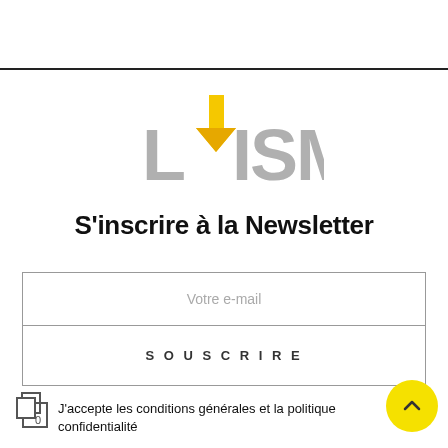[Figure (logo): L'ISM logo with a yellow downward arrow replacing the apostrophe, letters in gray]
S'inscrire à la Newsletter
Votre e-mail
SOUSCRIRE
J'accepte les conditions générales et la politique confidentialité